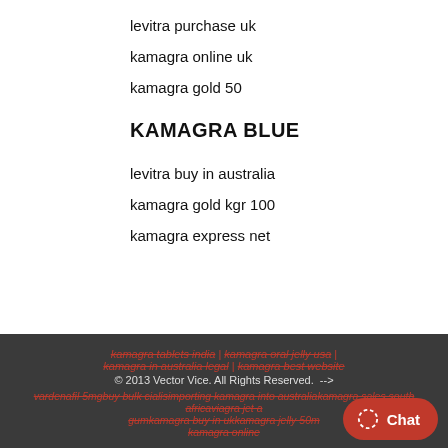levitra purchase uk
kamagra online uk
kamagra gold 50
KAMAGRA BLUE
levitra buy in australia
kamagra gold kgr 100
kamagra express net
kamagra tablets india | kamagra oral jelly usa | kamagra in australia legal | kamagra best website © 2013 Vector Vice. All Rights Reserved.  --> vardenafil 5mgbuy bulk cialisimporting kamagra into australiakamagra sales south africaviaga jet a gumkamagra buy in ukkamagra jelly 50m kamagra online